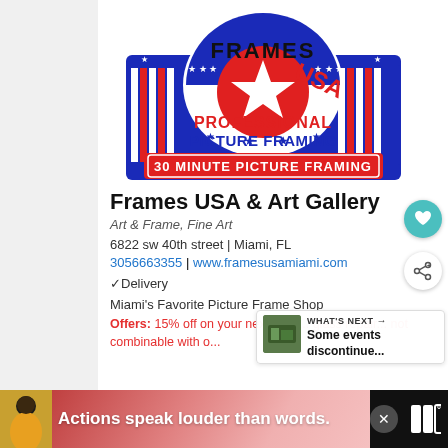[Figure (logo): Frames USA Professional Picture Framing logo — red, white, and blue patriotic design with stars, stripes, circular emblem with star, text 'FRAMES USA PROFESSIONAL PICTURE FRAMING' and banner '30 MINUTE PICTURE FRAMING']
Frames USA & Art Gallery
Art & Frame, Fine Art
6822 sw 40th street | Miami, FL
3056663355 | www.framesusamiami.com
✓Delivery
Miami's Favorite Picture Frame Shop
Offers: 15% off on your next picture framing order, glass repair... not combinable with other offers
[Figure (infographic): What's Next panel with thumbnail photo and text 'Some events discontinue...']
[Figure (infographic): Bottom advertisement bar — dark background with person photo, pink/red swirl background, text 'Actions speak louder than words.' with close button and logo]